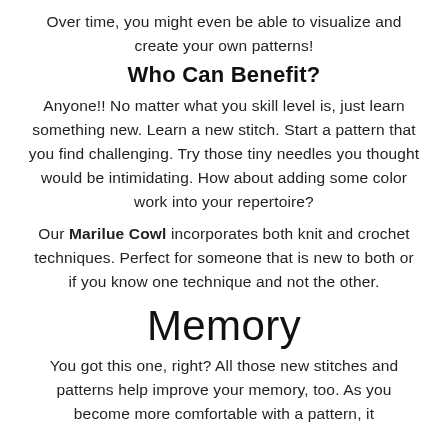Over time, you might even be able to visualize and create your own patterns!
Who Can Benefit?
Anyone!! No matter what you skill level is, just learn something new. Learn a new stitch. Start a pattern that you find challenging. Try those tiny needles you thought would be intimidating. How about adding some color work into your repertoire?
Our Marilue Cowl incorporates both knit and crochet techniques. Perfect for someone that is new to both or if you know one technique and not the other.
Memory
You got this one, right? All those new stitches and patterns help improve your memory, too. As you become more comfortable with a pattern, it…